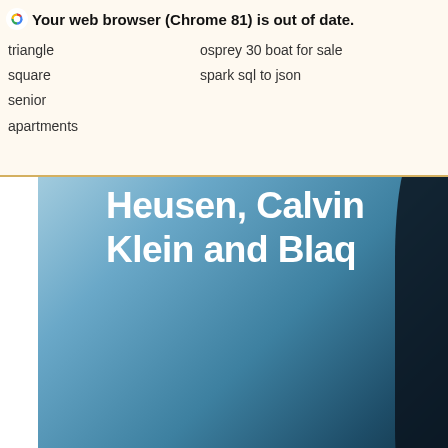Your web browser (Chrome 81) is out of date.
triangle
square
senior apartments
osprey 30 boat for sale
spark sql to json
[Figure (photo): Hero banner image with blue sky background showing text 'Heusen, Calvin Klein and Blaq' in white bold font, with a dark shape on the right edge]
bmw no reconoce llave
pandas dataframe to sql
[Figure (other): Gray circular chat bubble button icon with speech bubble dots]